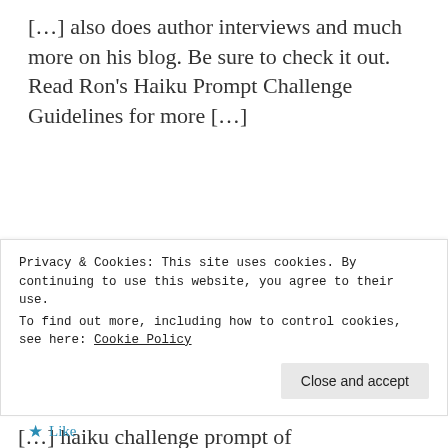[…] also does author interviews and much more on his blog. Be sure to check it out. Read Ron's Haiku Prompt Challenge Guidelines for more […]
Like
hope: making space for the new | Poetry Joy
December 29, 2016 at 11:39 am
👍 0 👎 0 ℹ Rate This
[…] haiku challenge prompt of
Privacy & Cookies: This site uses cookies. By continuing to use this website, you agree to their use.
To find out more, including how to control cookies, see here: Cookie Policy
Close and accept
Like